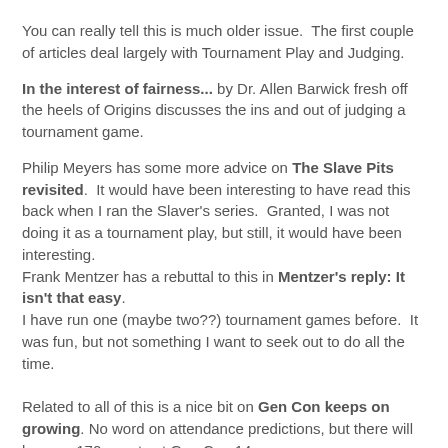You can really tell this is much older issue.  The first couple of articles deal largely with Tournament Play and Judging.
In the interest of fairness... by Dr. Allen Barwick fresh off the heels of Origins discusses the ins and out of judging a tournament game.
Philip Meyers has some more advice on The Slave Pits revisited.  It would have been interesting to have read this back when I ran the Slaver's series.  Granted, I was not doing it as a tournament play, but still, it would have been interesting.
Frank Mentzer has a rebuttal to this in Mentzer's reply: It isn't that easy.
I have run one (maybe two??) tournament games before.  It was fun, but not something I want to seek out to do all the time.
Related to all of this is a nice bit on Gen Con keeps on growing. No word on attendance predictions, but there will be over 170 events at Gen Con 14.